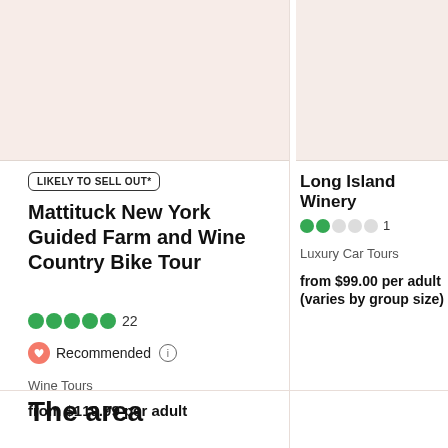[Figure (photo): Placeholder image for Mattituck New York Guided Farm and Wine Country Bike Tour]
LIKELY TO SELL OUT*
Mattituck New York Guided Farm and Wine Country Bike Tour
22 reviews, 5 stars
Recommended
Wine Tours
from $119.99 per adult
[Figure (photo): Placeholder image for Long Island Winery tour]
Long Island Winery
1 review, 2 stars
Luxury Car Tours
from $99.00 per adult (varies by group size)
The area